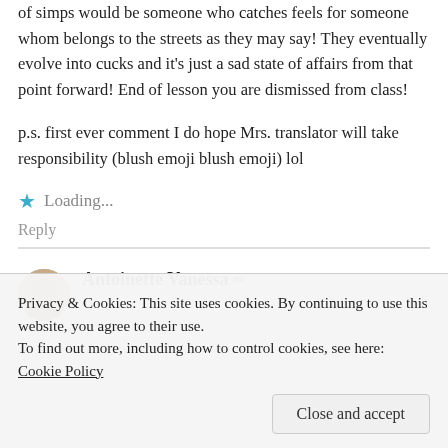of simps would be someone who catches feels for someone whom belongs to the streets as they may say! They eventually evolve into cucks and it's just a sad state of affairs from that point forward! End of lesson you are dismissed from class!
p.s. first ever comment I do hope Mrs. translator will take responsibility (blush emoji blush emoji) lol
Loading...
Reply
Antoinette Vanessa
Reply
Privacy & Cookies: This site uses cookies. By continuing to use this website, you agree to their use.
To find out more, including how to control cookies, see here: Cookie Policy
Close and accept